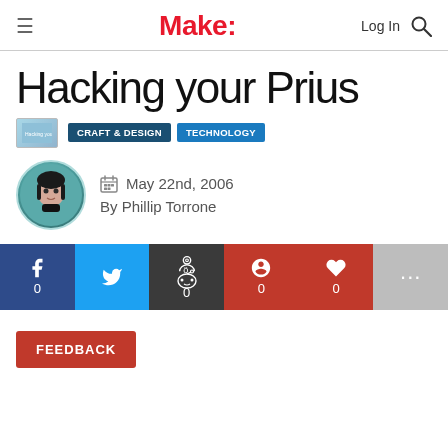Make:
Hacking your Prius
[Figure (photo): Thumbnail image for Hacking your Prius article with category tags: CRAFT & DESIGN, TECHNOLOGY]
By Phillip Torrone
May 22nd, 2006
FEEDBACK